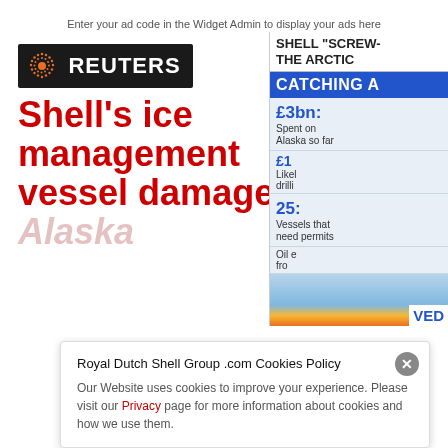Enter your ad code in the Widget Admin to display your ads here
[Figure (logo): Reuters logo: dark background with orange dot-circle orb and white REUTERS text]
Shell's ice management vessel damaged in Alaska
[Figure (infographic): Partial right-side panel: SHELL SCREW- THE ARCTIC headline, CATCHING A infographic with stats: £3bn Spent on Alaska so far, £1[...] Likely drilli[ng], 25: Vessels that need permits, Oil e[...] fro[m...], Shell logo partially visible]
Royal Dutch Shell Group .com Cookies Policy
Our Website uses cookies to improve your experience. Please visit our Privacy page for more information about cookies and how we use them.